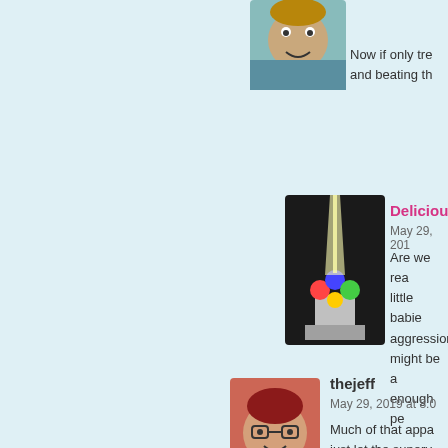[Figure (illustration): Cartoon avatar of a smiling person with brown hair]
Now if only tre and beating th
[Figure (illustration): Avatar showing colorful glowing balls on a pedestal with bright light]
Delicious
May 29, 201
Are we rea little babie aggression might be a enough pe
[Figure (illustration): Cartoon avatar of a person with red hair and glasses wearing a pink floral shirt]
thejeff
May 29, 2019 at 8:0
Much of that appa just let the superv everything. time a teeth at all when i an actual lack of p clear to me what D to stop the superv government has le the expectation th broke them. Trum voters and they e norms and traditic and hooks him wit